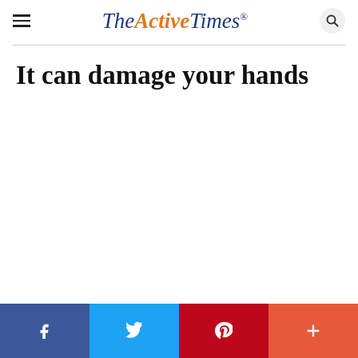The Active Times
It can damage your hands
Social share bar: Facebook, Twitter, Pinterest, More